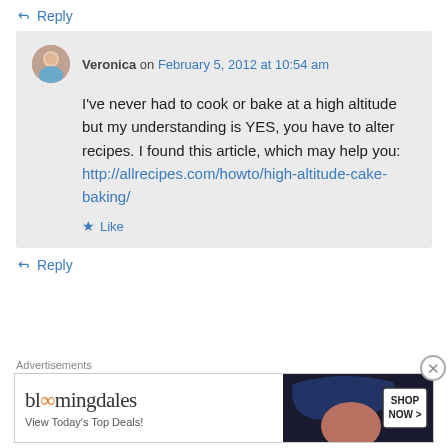↪ Reply
Veronica on February 5, 2012 at 10:54 am
I've never had to cook or bake at a high altitude but my understanding is YES, you have to alter recipes. I found this article, which may help you: http://allrecipes.com/howto/high-altitude-cake-baking/
★ Like
↪ Reply
Advertisements
[Figure (other): Bloomingdale's advertisement banner with text 'View Today's Top Deals!' and 'SHOP NOW >' button, featuring a woman with a large hat]